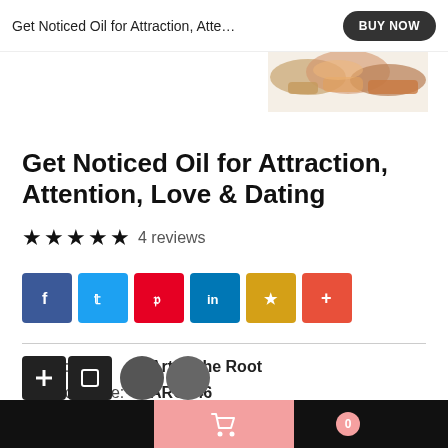Get Noticed Oil for Attraction, Atte…
[Figure (photo): Partial product image showing herbs/spices in top right corner]
Get Noticed Oil for Attraction, Attention, Love & Dating
★★★★★ 4 reviews
[Figure (infographic): Social sharing buttons: Facebook (blue), Twitter (light blue), Pinterest (red), LinkedIn (blue), Favorites/star (yellow), Plus/more (orange-red)]
Brand: Art of the Root
Product Code: ARO146
[Figure (infographic): Partial view of bottom navigation icons (dark circles/squares) partially cropped]
0